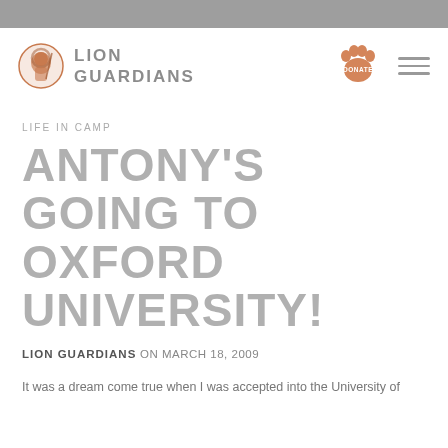[Figure (logo): Lion Guardians logo: circular icon with lion and Maasai warrior silhouette in orange/brown tones, with text LION GUARDIANS in grey uppercase letters]
[Figure (logo): Orange paw print icon with DONATE text, serving as a donate button]
LIFE IN CAMP
ANTONY'S GOING TO OXFORD UNIVERSITY!
LION GUARDIANS ON MARCH 18, 2009
It was a dream come true when I was accepted into the University of